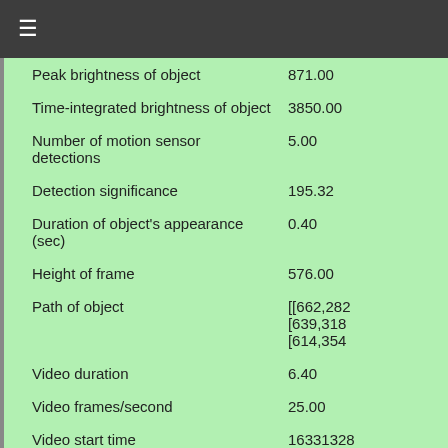≡
| Property | Value |
| --- | --- |
| Peak brightness of object | 871.00 |
| Time-integrated brightness of object | 3850.00 |
| Number of motion sensor detections | 5.00 |
| Detection significance | 195.32 |
| Duration of object's appearance (sec) | 0.40 |
| Height of frame | 576.00 |
| Path of object | [[662,282...
[639,318...
[614,354... |
| Video duration | 6.40 |
| Video frames/second | 25.00 |
| Video start time | 16331328... |
| Width of frame | 720.00 |